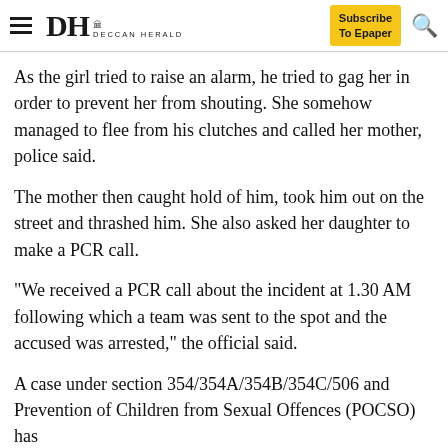DH DECCAN HERALD | Subscribe To Epaper
As the girl tried to raise an alarm, he tried to gag her in order to prevent her from shouting. She somehow managed to flee from his clutches and called her mother, police said.
The mother then caught hold of him, took him out on the street and thrashed him. She also asked her daughter to make a PCR call.
"We received a PCR call about the incident at 1.30 AM following which a team was sent to the spot and the accused was arrested," the official said.
A case under section 354/354A/354B/354C/506 and Prevention of Children from Sexual Offences (POCSO) has been registered at the police station.